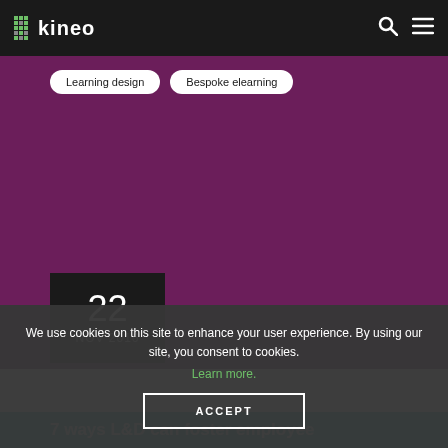kineo | navigation with search and menu icons
Learning design
Bespoke elearning
[Figure (other): Date badge showing 22 NOV 2016 on dark background over purple hero area]
We use cookies on this site to enhance your user experience. By using our site, you consent to cookies. Learn more.
ACCEPT
7 ways L&D can foster employee